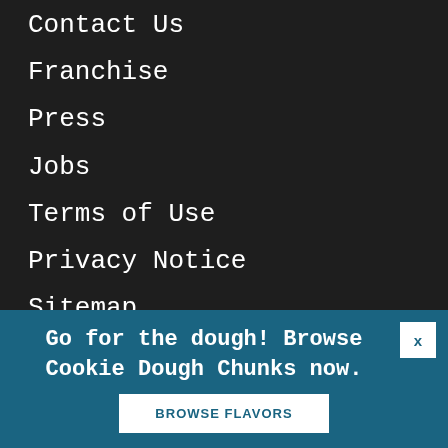Contact Us
Franchise
Press
Jobs
Terms of Use
Privacy Notice
Sitemap
Accessibility
Go for the dough! Browse Cookie Dough Chunks now.
BROWSE FLAVORS